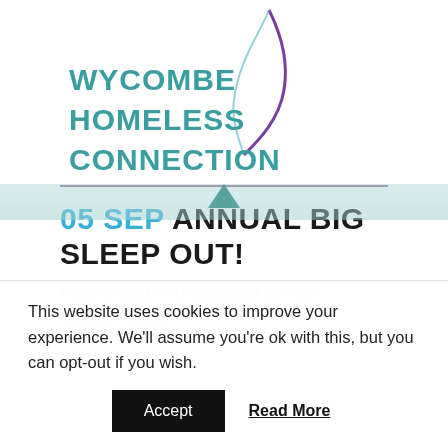[Figure (logo): Wycombe Homeless Connection logo with teal text and purple bird/feather graphic]
05 SEP ANNUAL BIG SLEEP OUT!
Posted at 13:21h in Uncategorized by wwset
• 0 Likes • Share
This website uses cookies to improve your experience. We'll assume you're ok with this, but you can opt-out if you wish.